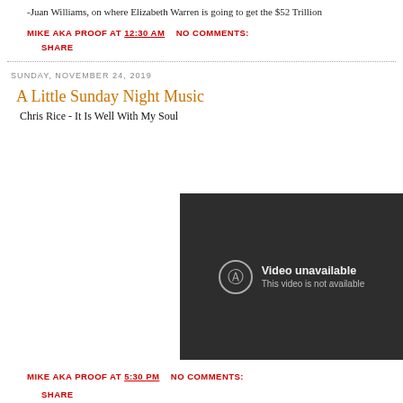-Juan Williams, on where Elizabeth Warren is going to get the $52 Trillion
MIKE AKA PROOF AT 12:30 AM   NO COMMENTS: SHARE
SUNDAY, NOVEMBER 24, 2019
A Little Sunday Night Music
Chris Rice - It Is Well With My Soul
[Figure (screenshot): Embedded video player showing 'Video unavailable - This video is not available' error message on dark background]
MIKE AKA PROOF AT 5:30 PM   NO COMMENTS: SHARE